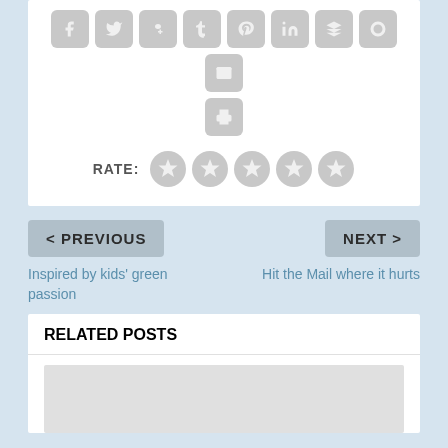[Figure (screenshot): Social media sharing icon buttons in a row: Facebook, Twitter, Google+, Tumblr, Pinterest, LinkedIn, Buffer, StumbleUpon, Email, and a Print button below]
RATE:
[Figure (infographic): Five gray star rating circles]
< PREVIOUS
Inspired by kids' green passion
NEXT >
Hit the Mail where it hurts
RELATED POSTS
[Figure (photo): Placeholder gray image area for related post thumbnail]